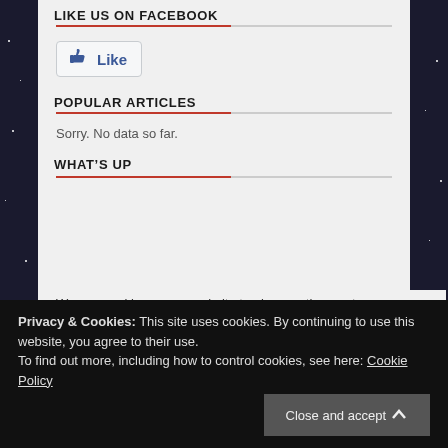LIKE US ON FACEBOOK
[Figure (illustration): Facebook Like button with thumbs up icon and 'Like' text]
POPULAR ARTICLES
Sorry. No data so far.
WHAT'S UP
We use cookies on our website to give you the most relevant experience by remembering your preferences and repeat visits.
Privacy & Cookies: This site uses cookies. By continuing to use this website, you agree to their use.
To find out more, including how to control cookies, see here: Cookie Policy
Close and accept